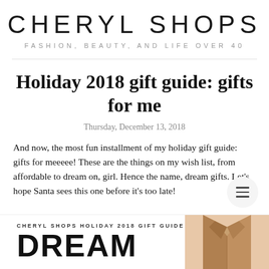CHERYL SHOPS
FASHION, BEAUTY, AND LIFE OVER 40
Holiday 2018 gift guide: gifts for me
Thursday, December 13, 2018
And now, the most fun installment of my holiday gift guide: gifts for meeeee! These are the things on my wish list, from affordable to dream on, girl. Hence the name, dream gifts. Let's hope Santa sees this one before it's too late!
[Figure (infographic): Bottom banner with 'CHERYL SHOPS HOLIDAY 2018 GIFT GUIDE' subtitle, large 'DREAM' text in black bold, and a tan/camel colored coat image on the right]